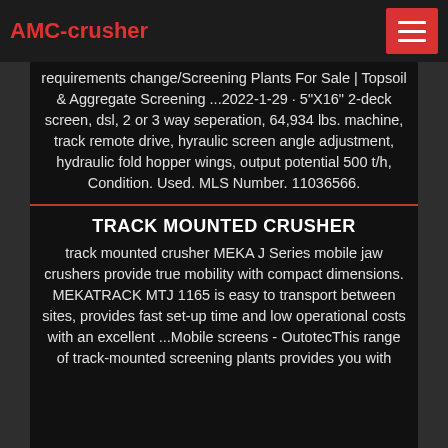AMC-crusher
requirements change/Screening Plants For Sale | Topsoil & Aggregate Screening ...2022-1-29 · 5"X16" 2-deck screen, dsl, 2 or 3 way seperation, 64,934 lbs. machine, track remote drive, hyraulic screen angle adjustment, hydraulic fold hopper wings, output potential 500 t/h, Condition. Used. MLS Number. 11036566.
TRACK MOUNTED CRUSHER
track mounted crusher MEKA J Series mobile jaw crushers provide true mobility with compact dimensions. MEKATRACK MTJ 1165 is easy to transport between sites, provides fast set-up time and low operational costs with an excellent ...Mobile screens - OutotecThis range of track-mounted screening plants provides you with multiple options and dimensions and